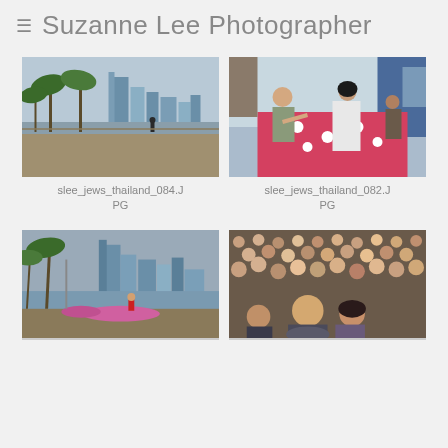Suzanne Lee Photographer
[Figure (photo): Outdoor waterfront scene with palm trees and city skyscrapers in background, person walking on promenade]
slee_jews_thailand_084.JPG
[Figure (photo): Indoor scene with bald man and woman in white dress sitting on a pink polka-dot bed, other people in background]
slee_jews_thailand_082.JPG
[Figure (photo): Outdoor waterfront scene with palm trees, city skyscrapers, and person in red near water with flowers]
[Figure (photo): Large crowd of people in an auditorium or gathering, bald man visible in foreground]